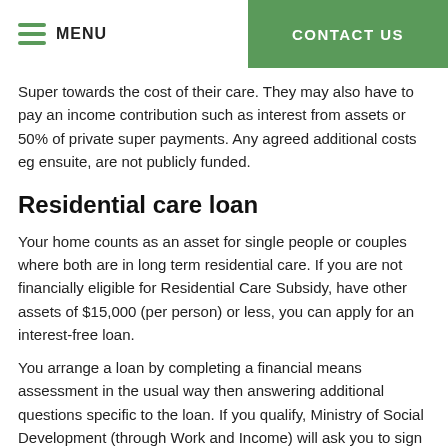MENU   CONTACT US
Super towards the cost of their care. They may also have to pay an income contribution such as interest from assets or 50% of private super payments. Any agreed additional costs eg ensuite, are not publicly funded.
Residential care loan
Your home counts as an asset for single people or couples where both are in long term residential care. If you are not financially eligible for Residential Care Subsidy, have other assets of $15,000 (per person) or less, you can apply for an interest-free loan.
You arrange a loan by completing a financial means assessment in the usual way then answering additional questions specific to the loan. If you qualify, Ministry of Social Development (through Work and Income) will ask you to sign a legal contract called the